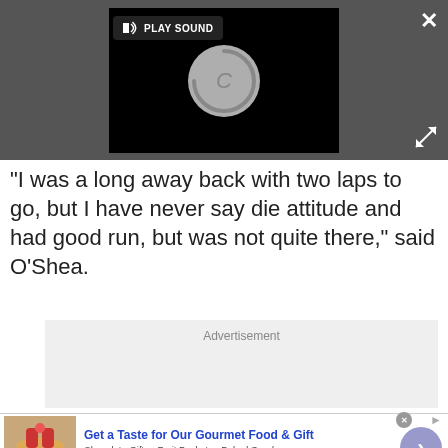[Figure (screenshot): Video player with loading spinner and PLAY SOUND button on dark background]
"I was a long away back with two laps to go, but I have never say die attitude and had good run, but was not quite there," said O'Shea.
Advertisement
[Figure (other): Advertisement banner for 1800flowers.com - Get a Taste for Our Gourmet Food & Gift. Chocolate Gifts - Fruit Baskets - Baked Goods. www.1800flowers.com]